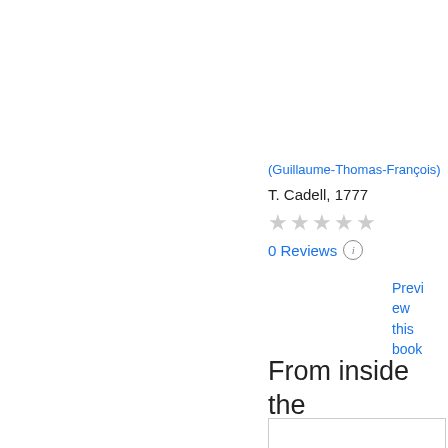[Figure (illustration): Old book cover for 'Settlements and Trade of the Europeans in the East and West Indies' translated from the French of the Abbé Raynal by J. Justamond, M.A., Third Edition, Volume the Fourth, London, printed for T. Cadell, 1777]
(Guillaume-Thomas-François)
T. Cadell, 1777
★★★★★ (0 stars, grey)
0 Reviews ⓘ
Preview this book
From inside the book